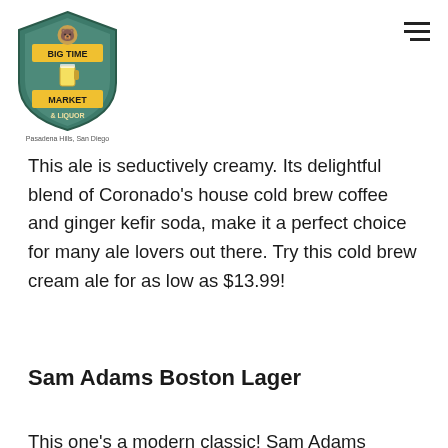[Figure (logo): Big Time Market & Liquor logo with bear holding a beer mug, shield shape, teal/green and yellow colors. Tagline: Pasadena Hills, San Diego]
This ale is seductively creamy. Its delightful blend of Coronado's house cold brew coffee and ginger kefir soda, make it a perfect choice for many ale lovers out there. Try this cold brew cream ale for as low as $13.99!
Sam Adams Boston Lager
This one's a modern classic! Sam Adams Boston transformed American beer by using the finest selected ingredients to create perfectly balanced, complex, full-bodied lager. It is carefully brewed using the traditional brewing process and brings forth a rich malty sweetness to every sip. Buy a pack of 12oz bottles with 4.9% ABV and 30 IBU for only $9.99!
Sierra Nevada Brewing Company Nooner Pilsner